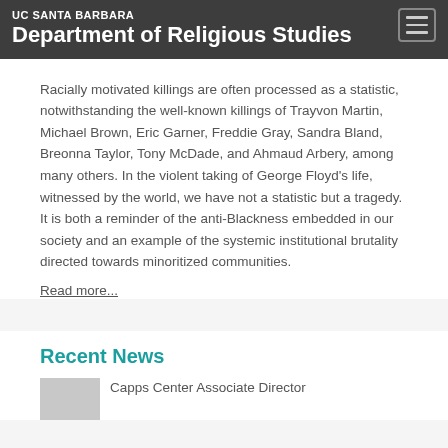UC SANTA BARBARA
Department of Religious Studies
Racially motivated killings are often processed as a statistic, notwithstanding the well-known killings of Trayvon Martin, Michael Brown, Eric Garner, Freddie Gray, Sandra Bland, Breonna Taylor, Tony McDade, and Ahmaud Arbery, among many others. In the violent taking of George Floyd’s life, witnessed by the world, we have not a statistic but a tragedy. It is both a reminder of the anti-Blackness embedded in our society and an example of the systemic institutional brutality directed towards minoritized communities.
Read more...
Recent News
Capps Center Associate Director